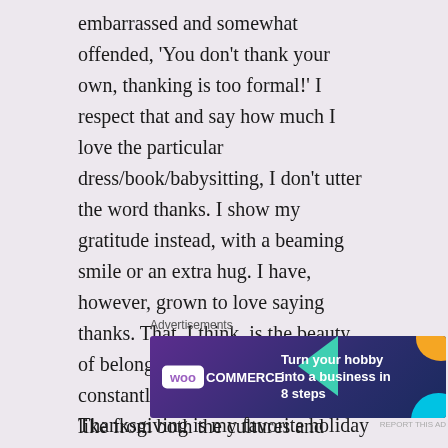embarrassed and somewhat offended, ‘You don’t thank your own, thanking is too formal!’ I respect that and say how much I love the particular dress/book/babysitting, I don’t utter the word thanks. I show my gratitude instead, with a beaming smile or an extra hug. I have, however, grown to love saying thanks. That, I think, is the beauty of belonging to two countries. I can constantly pick and choose all that I like from both the cultures and discard the ones that don’t make much sense to me.
Advertisements
[Figure (screenshot): WooCommerce banner advertisement: purple/dark blue background with teal triangle shape, orange circle, blue circle. WooCommerce logo on left, text reads 'Turn your hobby into a business in 8 steps']
Thanksgiving is my favorite holiday simply because it transcends the boundaries of structured religions and all